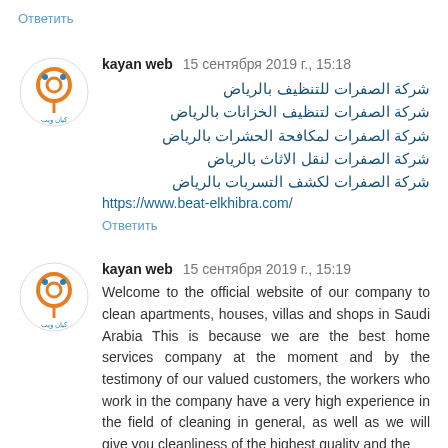Ответить
[Figure (logo): Kayan web logo - orange and blue circular icon with Arabic text]
kayan web 15 сентября 2019 г., 15:18
شركة الصفرات للتنظيف بالرياض
شركة الصفرات لتنظيف الخزانات بالرياض
شركة الصفرات لمكافحة الحشرات بالرياض
شركة الصفرات لنقل الاثاث بالرياض
شركة الصفرات لكشف التسربات بالرياض
https://www.beat-elkhibra.com/
Ответить
[Figure (logo): Kayan web logo - orange and blue circular icon with Arabic text]
kayan web 15 сентября 2019 г., 15:19
Welcome to the official website of our company to clean apartments, houses, villas and shops in Saudi Arabia This is because we are the best home services company at the moment and by the testimony of our valued customers, the workers who work in the company have a very high experience in the field of cleaning in general, as well as we will give you cleanliness of the highest quality and the